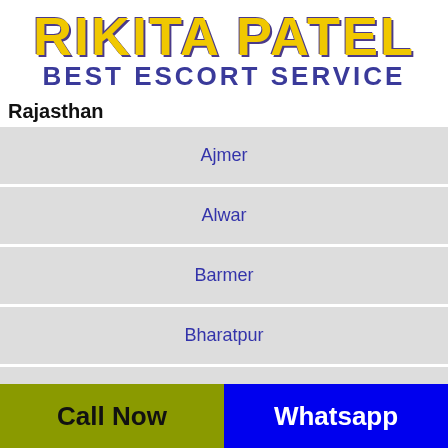RIKITA PATEL BEST ESCORT SERVICE
Rajasthan
Ajmer
Alwar
Barmer
Bharatpur
Bhilwara
Bikaner
Call Now   Whatsapp